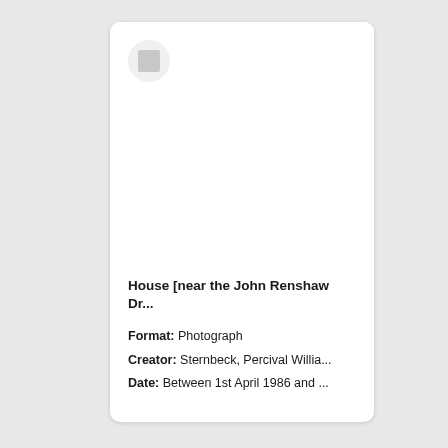[Figure (photo): Thumbnail placeholder with grey square icon inside a light grey circle, representing an unavailable or loading photograph image.]
House [near the John Renshaw Dr...
Format: Photograph
Creator: Sternbeck, Percival Willia...
Date: Between 1st April 1986 and ...